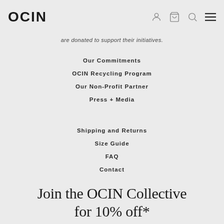OCIN
are donated to support their initiatives.
Our Commitments
OCIN Recycling Program
Our Non-Profit Partner
Press + Media
Shipping and Returns
Size Guide
FAQ
Contact
Join the OCIN Collective for 10% off*